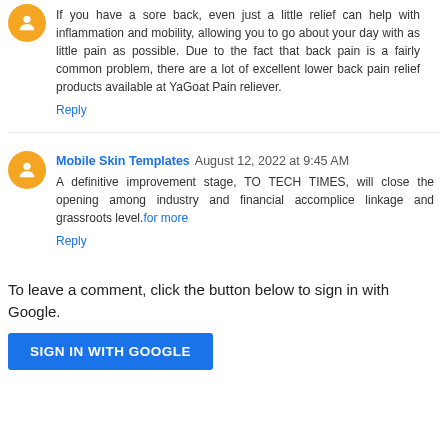If you have a sore back, even just a little relief can help with inflammation and mobility, allowing you to go about your day with as little pain as possible. Due to the fact that back pain is a fairly common problem, there are a lot of excellent lower back pain relief products available at YaGoat Pain reliever.
Reply
Mobile Skin Templates August 12, 2022 at 9:45 AM
A definitive improvement stage, TO TECH TIMES, will close the opening among industry and financial accomplice linkage and grassroots level.for more
Reply
To leave a comment, click the button below to sign in with Google.
SIGN IN WITH GOOGLE